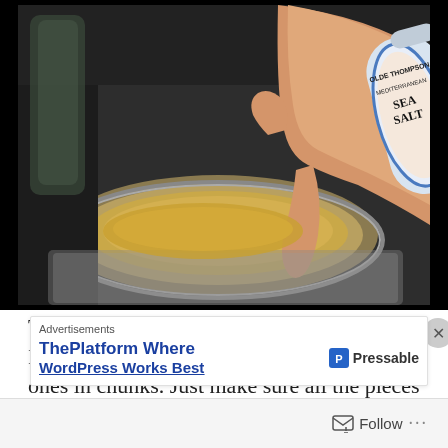[Figure (photo): A hand holding an Olde Thompson Mediterranean Sea Salt shaker over a stainless steel pot containing a yellow/golden liquid (presumably broth or butter).]
Then throw in your scrubbed baby potatoes. I cut the larger ones in chunks. Just make sure all the pieces are similar in
Advertisements
ThePlatform Where WordPress Works Best
Pressable
Follow ...